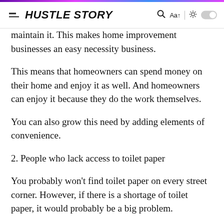HUSTLE STORY
maintain it. This makes home improvement businesses an easy necessity business.
This means that homeowners can spend money on their home and enjoy it as well. And homeowners can enjoy it because they do the work themselves.
You can also grow this need by adding elements of convenience.
2. People who lack access to toilet paper
You probably won't find toilet paper on every street corner. However, if there is a shortage of toilet paper, it would probably be a big problem.